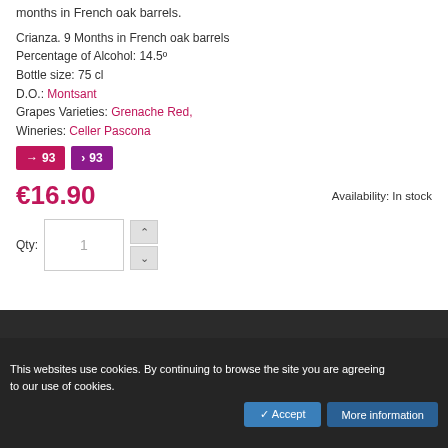months in French oak barrels.
Crianza. 9 Months in French oak barrels
Percentage of Alcohol: 14.5º
Bottle size: 75 cl
D.O.: Montsant
Grapes Varieties: Grenache Red,
Wineries: Celler Pascona
→ 93   › 93 (score badges)
€16.90    Availability: In stock
Qty: 1
This websites use cookies. By continuing to browse the site you are agreeing to our use of cookies.